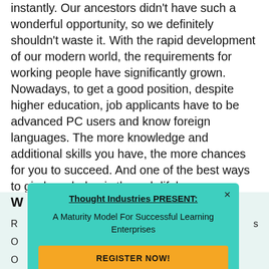instantly. Our ancestors didn't have such a wonderful opportunity, so we definitely shouldn't waste it. With the rapid development of our modern world, the requirements for working people have significantly grown. Nowadays, to get a good position, despite higher education, job applicants have to be advanced PC users and know foreign languages. The more knowledge and additional skills you have, the more chances for you to succeed. And one of the best ways to gin knowledge is through lifelong eLearning.
[Figure (screenshot): A teal/turquoise popup modal overlay with title 'Thought Industries PRESENT:', subtitle 'A Maturity Model For Successful Learning Enterprises', and a yellow 'REGISTER NOW!' button. An X close button is in the top right corner.]